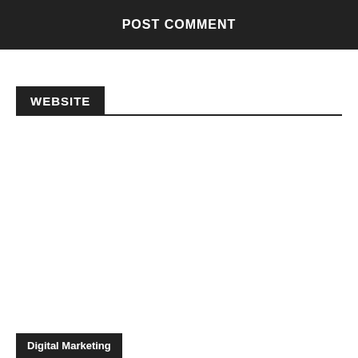POST COMMENT
WEBSITE
Digital Marketing